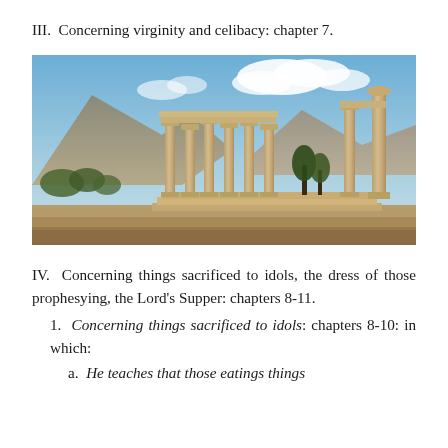III. Concerning virginity and celibacy: chapter 7.
[Figure (photo): Photograph of ancient Greek/Roman temple ruins (columns of the Temple of Apollo at Corinth) with a rocky mountain in the background under a partly cloudy sky.]
IV. Concerning things sacrificed to idols, the dress of those prophesying, the Lord's Supper: chapters 8-11.
1. Concerning things sacrificed to idols: chapters 8-10: in which:
a. He teaches that those eatings things